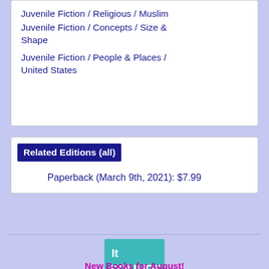Juvenile Fiction / Religious / Muslim
Juvenile Fiction / Concepts / Size & Shape
Juvenile Fiction / People & Places / United States
Related Editions (all)
Paperback (March 9th, 2021): $7.99
[Figure (illustration): Book cover for 'It Sounds Like This' by Anna Meriano, showing illustrated characters with musical instruments on a teal background]
New Books for August!